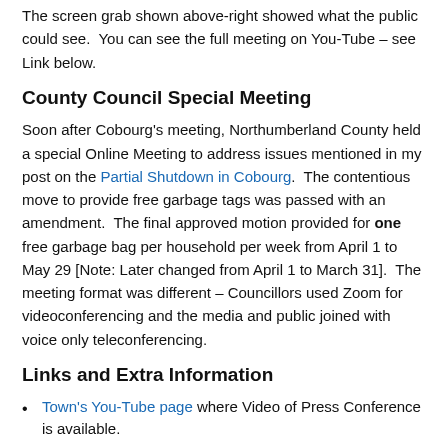The screen grab shown above-right showed what the public could see.  You can see the full meeting on You-Tube – see Link below.
County Council Special Meeting
Soon after Cobourg's meeting, Northumberland County held a special Online Meeting to address issues mentioned in my post on the Partial Shutdown in Cobourg.  The contentious move to provide free garbage tags was passed with an amendment.  The final approved motion provided for one free garbage bag per household per week from April 1 to May 29 [Note: Later changed from April 1 to March 31].  The meeting format was different – Councillors used Zoom for videoconferencing and the media and public joined with voice only teleconferencing.
Links and Extra Information
Town's You-Tube page where Video of Press Conference is available.
Quarantine Act Emergency Order – re law on compliance with quarantine directive – Police Press release
Town Planning to Financially help re Covid-19 – 22 March